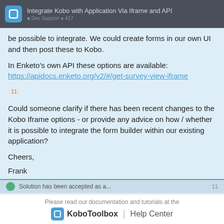Integrate Kobo with Application Via Iframe and API
be possible to integrate. We could create forms in our own UI and then post these to Kobo.
In Enketo's own API these options are available:
https://apidocs.enketo.org/v2/#/get-survey-view-iframe
11
Could someone clarify if there has been recent changes to the Kobo Iframe options - or provide any advice on how / whether it is possible to integrate the form builder within our existing application?
Cheers,
Frank
Please read our documentation and tutorials at the KoboToolbox | Help Center